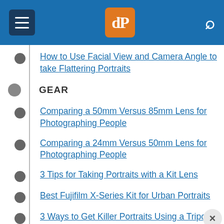dPS header navigation
How to Use Facial View and Camera Angle to take Flattering Portraits
GEAR
Comparing a 50mm Versus 85mm Lens for Photographing People
Comparing a 24mm Versus 50mm Lens for Photographing People
3 Tips for Taking Portraits with a Kit Lens
Best Fujifilm X-Series Kit for Urban Portraits
3 Ways to Get Killer Portraits Using a Tripod